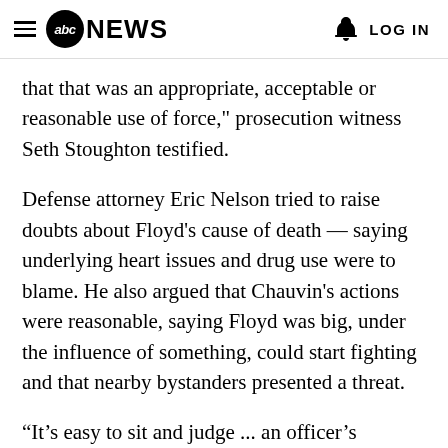abc NEWS  LOG IN
that that was an appropriate, acceptable or reasonable use of force," prosecution witness Seth Stoughton testified.
Defense attorney Eric Nelson tried to raise doubts about Floyd's cause of death — saying underlying heart issues and drug use were to blame. He also argued that Chauvin's actions were reasonable, saying Floyd was big, under the influence of something, could start fighting and that nearby bystanders presented a threat.
“It’s easy to sit and judge ... an officer’s conduct,” defense witness Barry Brodd